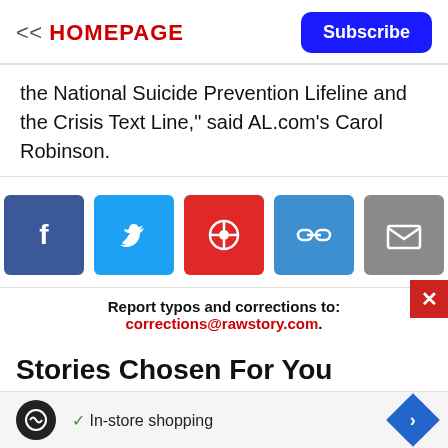<< HOMEPAGE | Subscribe
the National Suicide Prevention Lifeline and the Crisis Text Line," said AL.com's Carol Robinson.
[Figure (infographic): Social share buttons: Facebook (dark blue), Twitter (light blue), Flipboard (red), Link (blue), Email (gray)]
Report typos and corrections to: corrections@rawstory.com.
Stories Chosen For You
[Figure (photo): Story preview thumbnail with partial headline text]
[Figure (infographic): Ad bar with logo icon, In-store shopping text with checkmark, navigation arrow icon]